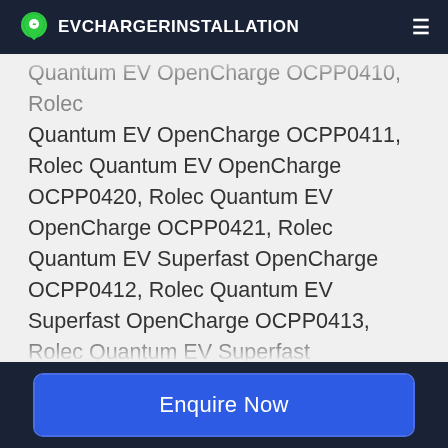EVCHARGERINSTALLATION
Quantum EV OpenCharge OCPP0410, Rolec Quantum EV OpenCharge OCPP0411, Rolec Quantum EV OpenCharge OCPP0420, Rolec Quantum EV OpenCharge OCPP0421, Rolec Quantum EV Superfast OpenCharge OCPP0412, Rolec Quantum EV Superfast OpenCharge OCPP0413, Rolec Quantum EV Superfast OpenCharge OCPP0422, Rolec Quantum EV Superfast OpenCharge OCPP0423, Rolec Securicharge EVGM0100-WCS, Rolec Securicharge EVGM0101-WCS, Rolec Securicharge EVGM0110-WCS, Rolec Securicharge EVGM0111-WCS, Rolec SecuriCharge EV OpenCharge OCPP0110, Rolec
Enquire Now